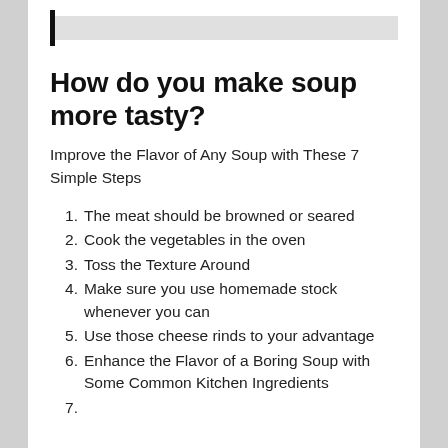How do you make soup more tasty?
Improve the Flavor of Any Soup with These 7 Simple Steps
The meat should be browned or seared
Cook the vegetables in the oven
Toss the Texture Around
Make sure you use homemade stock whenever you can
Use those cheese rinds to your advantage
Enhance the Flavor of a Boring Soup with Some Common Kitchen Ingredients